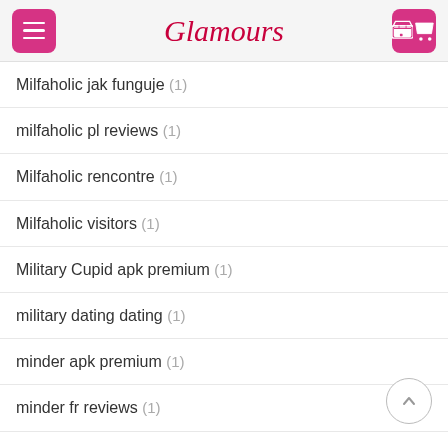Glamours
Milfaholic jak funguje (1)
milfaholic pl reviews (1)
Milfaholic rencontre (1)
Milfaholic visitors (1)
Military Cupid apk premium (1)
military dating dating (1)
minder apk premium (1)
minder fr reviews (1)
mingle2 Coupon (1)
Mingle2 rencontre (1)